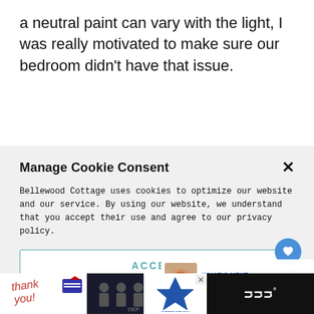a neutral paint can vary with the light, I was really motivated to make sure our bedroom didn't have that issue.
Manage Cookie Consent
Bellewood Cottage uses cookies to optimize our website and our service. By using our website, we understand that you accept their use and agree to our privacy policy.
ACCEPT
Privacy Policy   Privacy Policy
[Figure (screenshot): WHAT'S NEXT arrow label with ALL Crumbl Cookie... text and thumbnail image of cookies]
[Figure (photo): Dark geometric metallic background photo with bellewoodcottage watermark]
[Figure (screenshot): Advertisement banner with 'thank you' text, Operation Gratitude logo, and black right panel with W logo]